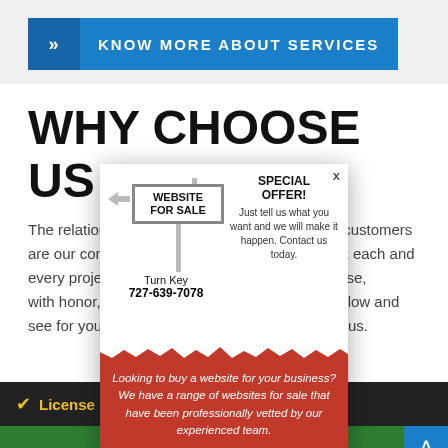KNOW MORE ABOUT SERVICES
WHY CHOOSE US
The relationships we have established with our customers are our comp... at each and every project ... own house, with honor, re... ok below and see for yours... ect us.
[Figure (infographic): Popup ad overlay showing a real estate style sign reading 'WEBSITE FOR SALE', with text 'Turn Key 727-639-7078', a 'SPECIAL OFFER!' panel on the right, and a red torn-paper bottom section reading 'Looking to buy a website for your business? We have a range of websites for sale that have been professionally vetted by our experienced team.']
License